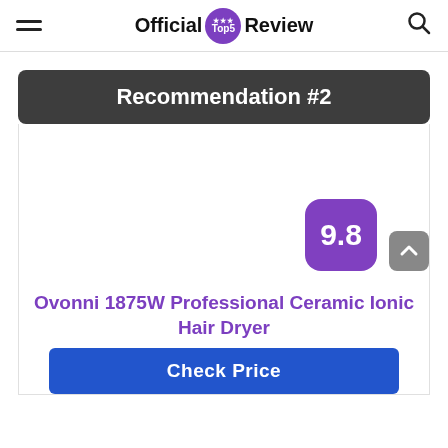Official Top5 Review
Recommendation #2
[Figure (other): Product image area for Ovonni 1875W hair dryer with score badge showing 9.8]
Ovonni 1875W Professional Ceramic Ionic Hair Dryer
Check Price